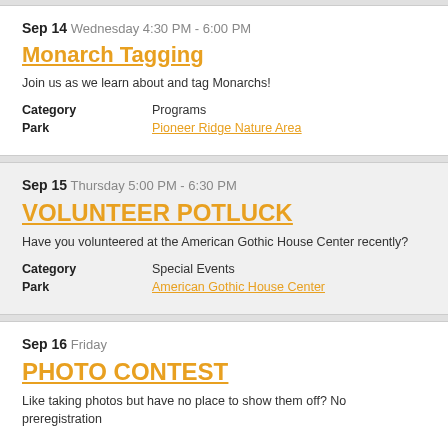Sep 14 Wednesday 4:30 PM - 6:00 PM
Monarch Tagging
Join us as we learn about and tag Monarchs!
Category   Programs
Park   Pioneer Ridge Nature Area
Sep 15 Thursday 5:00 PM - 6:30 PM
VOLUNTEER POTLUCK
Have you volunteered at the American Gothic House Center recently?
Category   Special Events
Park   American Gothic House Center
Sep 16 Friday
PHOTO CONTEST
Like taking photos but have no place to show them off? No preregistration